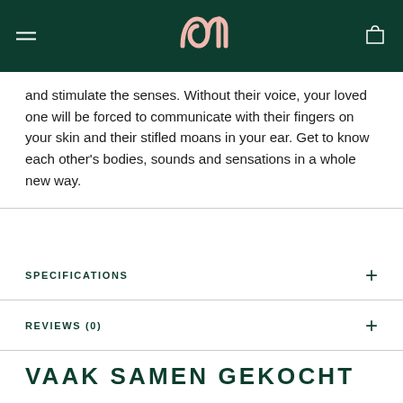[Logo] [Menu] [Cart]
and stimulate the senses. Without their voice, your loved one will be forced to communicate with their fingers on your skin and their stifled moans in your ear. Get to know each other's bodies, sounds and sensations in a whole new way.
SPECIFICATIONS
REVIEWS (0)
VAAK SAMEN GEKOCHT